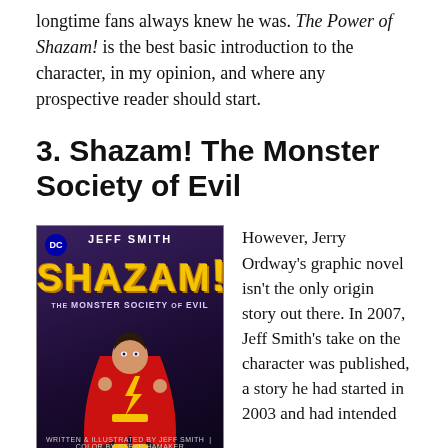longtime fans always knew he was. The Power of Shazam! is the best basic introduction to the character, in my opinion, and where any prospective reader should start.
3. Shazam! The Monster Society of Evil
[Figure (illustration): Book cover of 'Shazam! The Monster Society of Evil' by Jeff Smith. Shows Captain Marvel/Shazam in red and gold costume against a dark purple/blue background. DC logo in top left corner.]
However, Jerry Ordway's graphic novel isn't the only origin story out there. In 2007, Jeff Smith's take on the character was published, a story he had started in 2003 and had intended